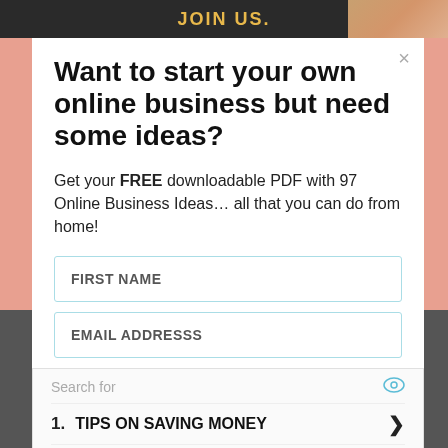[Figure (screenshot): Top dark banner with JOIN US. text in gold and a person image on the right]
Want to start your own online business but need some ideas?
Get your FREE downloadable PDF with 97 Online Business Ideas… all that you can do from home!
FIRST NAME
EMAIL ADDRESSS
Search for
1. TIPS ON SAVING MONEY
2. MONEY SAVING IDEAS
Ad | Business Focus